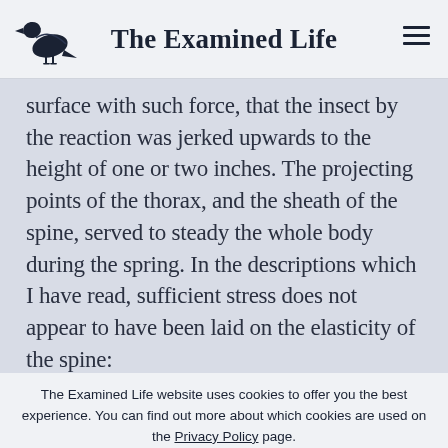The Examined Life
surface with such force, that the insect by the reaction was jerked upwards to the height of one or two inches. The projecting points of the thorax, and the sheath of the spine, served to steady the whole body during the spring. In the descriptions which I have read, sufficient stress does not appear to have been laid on the elasticity of the spine:
The Examined Life website uses cookies to offer you the best experience. You can find out more about which cookies are used on the Privacy Policy page.
ACCEPT COOKIES   COOKIES POLICY